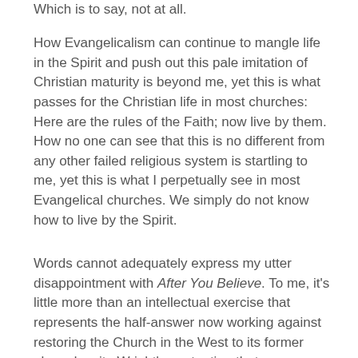Which is to say, not at all.
How Evangelicalism can continue to mangle life in the Spirit and push out this pale imitation of Christian maturity is beyond me, yet this is what passes for the Christian life in most churches: Here are the rules of the Faith; now live by them. How no one can see that this is no different from any other failed religious system is startling to me, yet this is what I perpetually see in most Evangelical churches. We simply do not know how to live by the Spirit.
Words cannot adequately express my utter disappointment with After You Believe. To me, it's little more than an intellectual exercise that represents the half-answer now working against restoring the Church in the West to its former glory, despite Wright's contention that